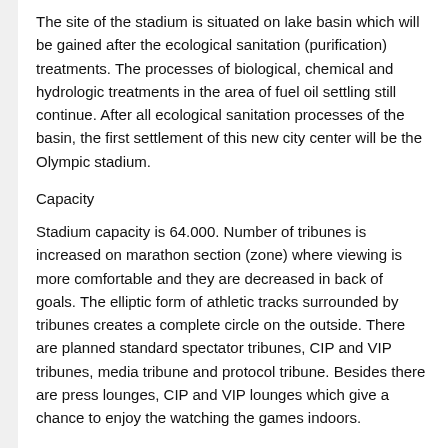The site of the stadium is situated on lake basin which will be gained after the ecological sanitation (purification) treatments. The processes of biological, chemical and hydrologic treatments in the area of fuel oil settling still continue. After all ecological sanitation processes of the basin, the first settlement of this new city center will be the Olympic stadium.
Capacity
Stadium capacity is 64.000. Number of tribunes is increased on marathon section (zone) where viewing is more comfortable and they are decreased in back of goals. The elliptic form of athletic tracks surrounded by tribunes creates a complete circle on the outside. There are planned standard spectator tribunes, CIP and VIP tribunes, media tribune and protocol tribune. Besides there are press lounges, CIP and VIP lounges which give a chance to enjoy the watching the games indoors.
A city center living 365 days
Baku Olympic Stadium was designed in way to satisfy the